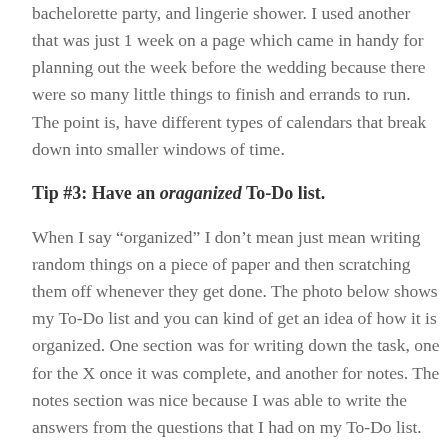bachelorette party, and lingerie shower. I used another that was just 1 week on a page which came in handy for planning out the week before the wedding because there were so many little things to finish and errands to run. The point is, have different types of calendars that break down into smaller windows of time.
Tip #3: Have an oraganized To-Do list.
When I say “organized” I don’t mean just mean writing random things on a piece of paper and then scratching them off whenever they get done. The photo below shows my To-Do list and you can kind of get an idea of how it is organized. One section was for writing down the task, one for the X once it was complete, and another for notes. The notes section was nice because I was able to write the answers from the questions that I had on my To-Do list. For example, one thing I needed to figure out was whether we